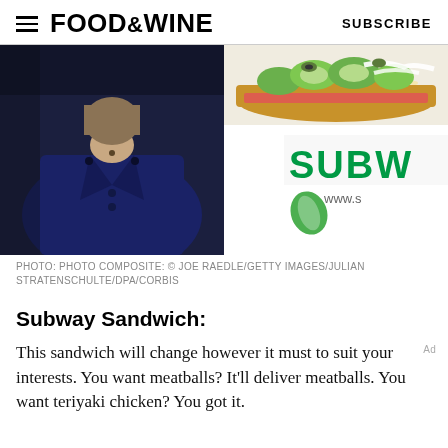FOOD&WINE    SUBSCRIBE
[Figure (photo): Photo composite: left side shows a person in a dark blue blazer; right side shows a Subway sandwich with vegetables on top of Subway branded packaging.]
PHOTO: PHOTO COMPOSITE: © JOE RAEDLE/GETTY IMAGES/JULIAN STRATENSCHULTE/DPA/CORBIS
Subway Sandwich:
This sandwich will change however it must to suit your interests. You want meatballs? It'll deliver meatballs. You want teriyaki chicken? You got it.